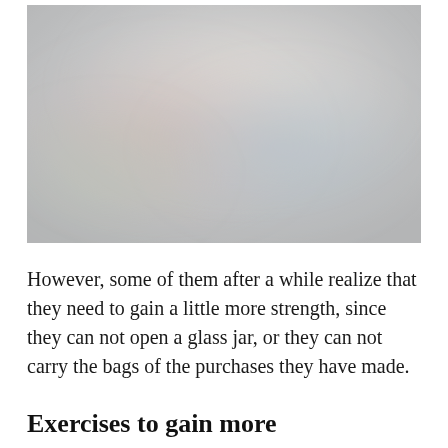[Figure (photo): A blurred/soft-focus photograph showing people, with muted pastel colors including grays, pinks, and blues.]
However, some of them after a while realize that they need to gain a little more strength, since they can not open a glass jar, or they can not carry the bags of the purchases they have made.
Exercises to gain more